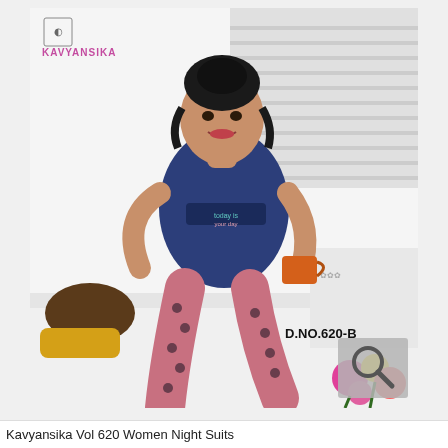[Figure (photo): Product photo of a young woman wearing a navy blue short-sleeve T-shirt with 'today is your day' graphic print and pink patterned leggings with black heart/floral print. She is seated on a white surface holding an orange mug. Background shows white blinds and a floral-patterned surface. Brown and yellow cushions on the left, colorful flowers bottom right. Kavyansika brand logo in top-left corner of image. D.NO.620-B label in lower-right area of image. A search icon overlay in bottom-right corner.]
Kavyansika Vol 620 Women Night Suits